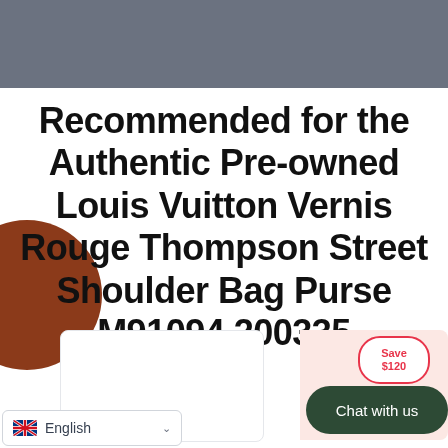Recommended for the Authentic Pre-owned Louis Vuitton Vernis Rouge Thompson Street Shoulder Bag Purse M91094 200335
[Figure (screenshot): Product card area showing a pink/salmon tinted section with a red percent (%) discount badge icon, a 'Save $120' circular badge in pink outline, a dark green 'Chat with us' button, and an English language selector dropdown at the bottom left.]